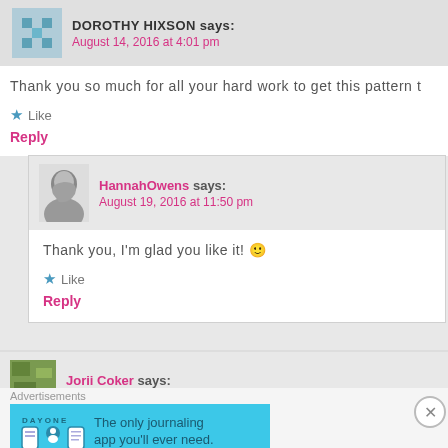DOROTHY HIXSON says:
August 14, 2016 at 4:01 pm
Thank you so much for all your hard work to get this pattern t
★ Like
Reply
HannahOwens says:
August 19, 2016 at 11:50 pm
Thank you, I'm glad you like it! 🙂
★ Like
Reply
Jorii Coker says:
Advertisements
[Figure (screenshot): Day One journaling app advertisement banner with blue background, app icons, and text 'The only journaling app you'll ever need.']
ADCHOICES AD